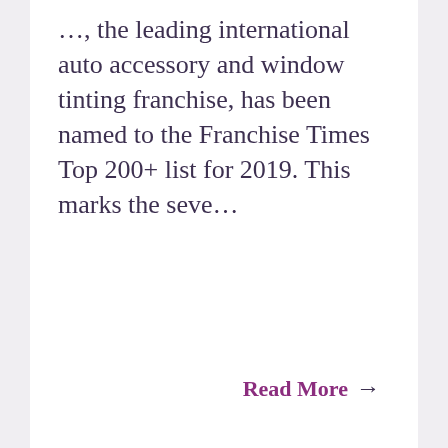…, the leading international auto accessory and window tinting franchise, has been named to the Franchise Times Top 200+ list for 2019. This marks the seve…
Read More →